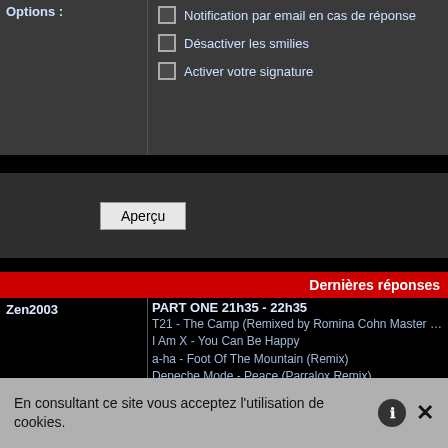Options :
Notification par email en cas de réponse
Désactiver les smilies
Activer votre signature
Aperçu
Dernières réponses
Zen2003
PART ONE 21h35 - 22h35
T21 - The Camp (Remixed by Romina Cohn Master v2)
I Am X - You Can Be Happy
a-ha - Foot Of The Mountain (Remix)
Depeche Mode - Peace (Parralox Remix)
Pet Shop Boys - More Than A Dream
Simple Minds - Shadows and light
Placebo - The Never - Ending Why
Schiller Feat. Heppner - Dream Of You
Nitzer Ebb - Once You Say (feat Martin Gore)
Partenaire Particulier - Elle Est Partie (Lv 2009.05.29 Begles)
Waiting For Words - The Curve (Lv 2009.05.29 : Electro
the cure - the walk (infusion mix)
Bjork - Earth Intruders (Voltaic - Live At Olympic Studios
En consultant ce site vous acceptez l'utilisation de cookies.